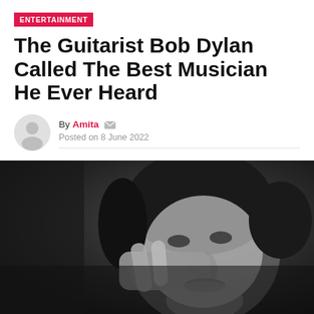ENTERTAINMENT
The Guitarist Bob Dylan Called The Best Musician He Ever Heard
By Amita · Posted on 8 June 2022
[Figure (photo): Black and white close-up photograph of Bob Dylan as a young man, with curly dark hair, resting his hand near his face, looking thoughtfully to the side]